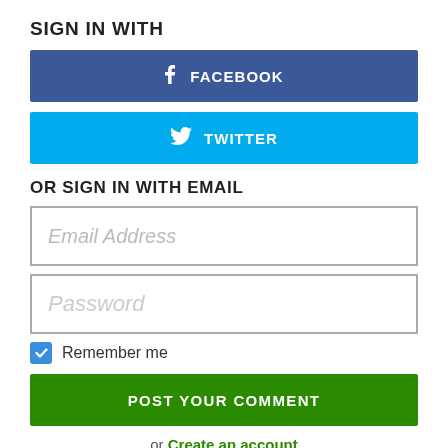SIGN IN WITH
[Figure (screenshot): Facebook sign-in button with Facebook icon and text 'FACEBOOK' in white on blue background]
[Figure (screenshot): Twitter sign-in button with Twitter bird icon and text 'TWITTER' in white on cyan background]
OR SIGN IN WITH EMAIL
[Figure (screenshot): Email address input field with placeholder text 'Email Address' in italic gray]
[Figure (screenshot): Password input field with placeholder text 'Password' in italic gray]
Remember me
[Figure (screenshot): Green 'POST YOUR COMMENT' button]
or Create an account